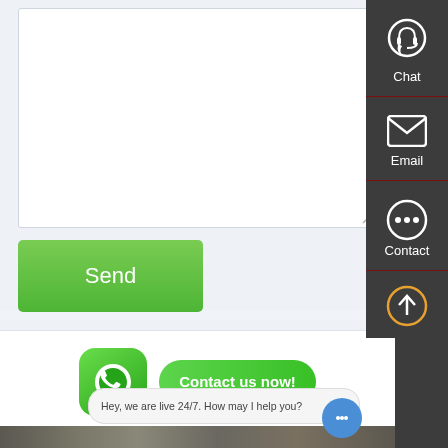[Figure (screenshot): Web contact form with textarea input field and Send button, right sidebar with Chat, Email, Contact options, WhatsApp contact widget with 'Contact us now!' button, bottom live chat bar saying 'Hey, we are live 24/7. How may I help you?']